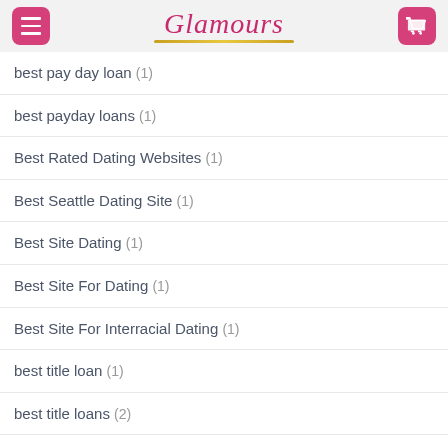Glamours
best pay day loan (1)
best payday loans (1)
Best Rated Dating Websites (1)
Best Seattle Dating Site (1)
Best Site Dating (1)
Best Site For Dating (1)
Best Site For Interracial Dating (1)
best title loan (1)
best title loans (2)
best titleloan (1)